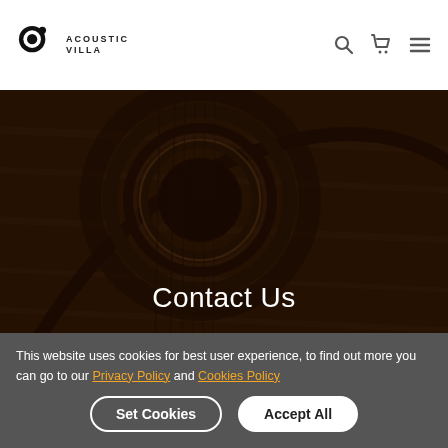Acoustic Villa — logo, search, cart, menu icons
[Figure (photo): Close-up photo of an acoustic guitar sound hole and body, dark brown tones with concentric rings around the sound hole. Overlaid with 'Contact Us' title text.]
Contact Us
This website uses cookies for best user experience, to find out more you can go to our Privacy Policy and Cookies Policy
Set Cookies  Accept All